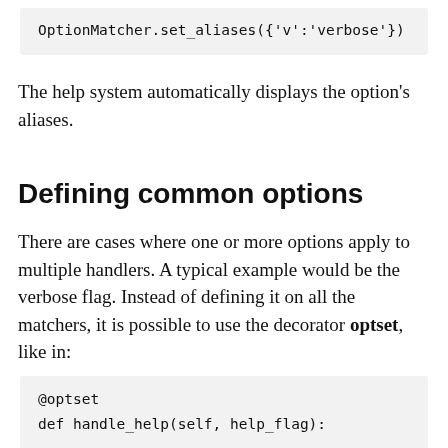OptionMatcher.set_aliases({'v':'verbose'})
The help system automatically displays the option's aliases.
Defining common options
There are cases where one or more options apply to multiple handlers. A typical example would be the verbose flag. Instead of defining it on all the matchers, it is possible to use the decorator optset, like in:
@optset
def handle_help(self, help_flag):